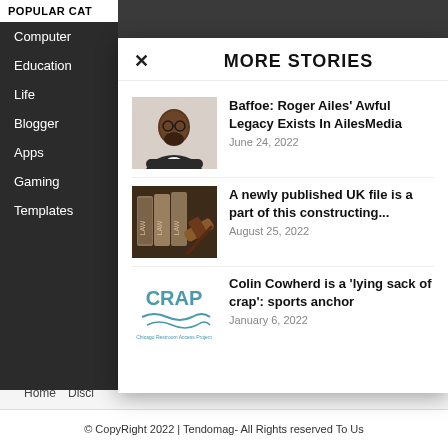POPULAR CAT
Computer
Education
Life
Blogger
Apps
Gaming
Templates
MORE STORIES
Baffoe: Roger Ailes' Awful Legacy Exists In AilesMedia
June 24, 2022
A newly published UK file is a part of this constructing...
August 25, 2022
Colin Cowherd is a 'lying sack of crap': sports anchor
January 6, 2022
Home   Discl
© CopyRight 2022 | Tendomag- All Rights reserved To Us